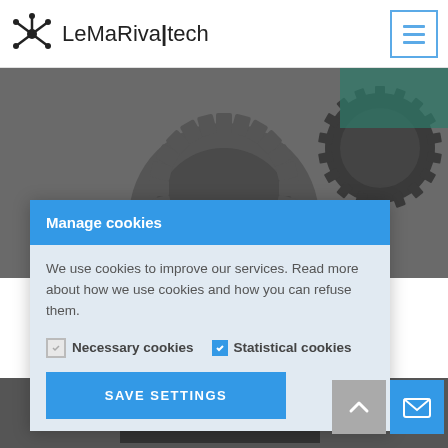LeMaRiva|tech
[Figure (photo): Close-up photo of metal gears and mechanical parts with a blue cylindrical component]
Manage cookies
We use cookies to improve our services. Read more about how we use cookies and how you can refuse them.
Necessary cookies  Statistical cookies
SAVE SETTINGS
[Figure (photo): Partial view of electronic circuit board at bottom of page]